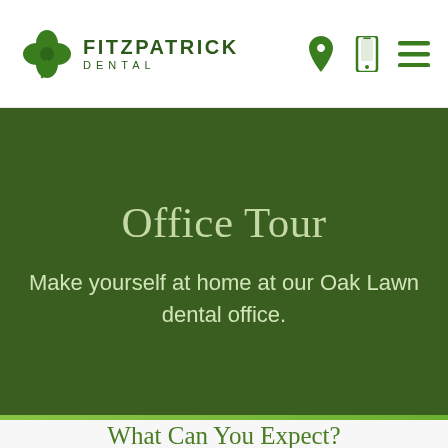FITZPATRICK DENTAL
Office Tour
Make yourself at home at our Oak Lawn dental office.
What Can You Expect?